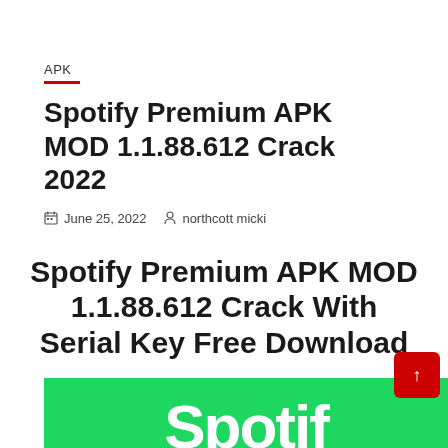APK
Spotify Premium APK MOD 1.1.88.612 Crack 2022
June 25, 2022   northcott micki
Spotify Premium APK MOD 1.1.88.612 Crack With Serial Key Free Download
[Figure (logo): Green Spotify banner with white Spotify logo text at bottom]